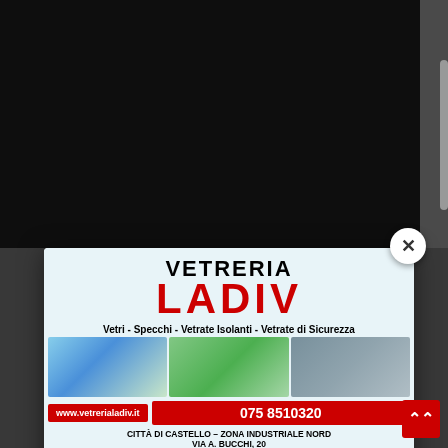[Figure (screenshot): Screenshot of a website with a modal advertisement popup for 'Vetreria Ladiv' (a glass company). The modal shows the company logo, product images, contact info, and a cookie consent bar at the bottom. A close button (X) is in the top-right of the modal. Background is dark. Cookie consent buttons: 'Impostazioni dei Cookie' and 'Accetta Tutti'. A red back-to-top button is in the bottom right.]
VETRERIA
LADIV
Vetri - Specchi - Vetrate Isolanti - Vetrate di Sicurezza
www.vetrerialadiv.it   075 8510320
CITTÀ DI CASTELLO – ZONA INDUSTRIALE NORD
VIA A. BUCCHI, 20
TUTTI i cookie. Tuttavia, è possibile visitare "Impostazioni dei Cookie" per fornire un consenso controllato.
Impostazioni dei Cookie
Accetta Tutti